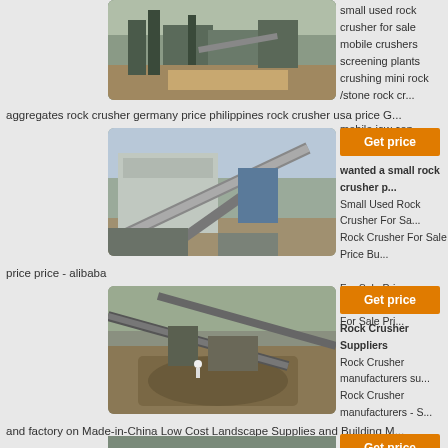[Figure (photo): Aerial view of industrial rock crushing plant with heavy machinery and conveyors]
small used rock crusher for sale
mobile crushers screening plants
crushing mini rock /stone rock cr...
used for sale trio mobile jaw con...
aggregates rock crusher germany price philippines rock crusher usa price G...
[Figure (photo): Rock crushing facility with large conveyor structure and industrial building]
Get price
wanted a small rock crusher p...
Small Used Rock Crusher For Sa...
Rock Crusher For Sale Price Bu...
Used Rock Crusher For Sale Pri...
Used Rock Crusher For Sale Pri...
price price - alibaba
[Figure (photo): Open pit rock crushing operation with machinery and excavated terrain]
Get price
Rock Crusher Suppliers
Rock Crusher manufacturers su...
Rock Crusher manufacturers - S...
Crusher products in best price fr...
Machine manufacturers Crusher...
and factory on Made-in-China Low Cost Landscape Supplies and Building M...
[Figure (photo): Partially visible rock crushing machinery at bottom of page]
Get price